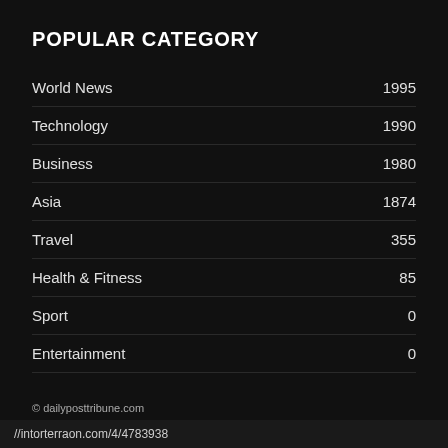POPULAR CATEGORY
World News  1995
Technology  1990
Business  1980
Asia  1874
Travel  355
Health & Fitness  85
Sport  0
Entertainment  0
© dailyposttribune.com
//intorterraon.com/4/4783938